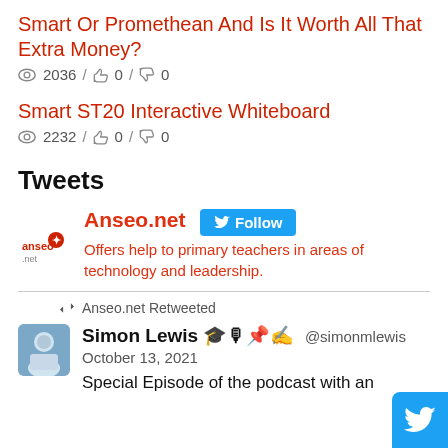Smart Or Promethean And Is It Worth All That Extra Money?
2036 / 0 / 0
Smart ST20 Interactive Whiteboard
2232 / 0 / 0
Tweets
Anseo.net — Follow — Offers help to primary teachers in areas of technology and leadership.
Anseo.net Retweeted
Simon Lewis 🎓🎙📌✍ @simonmlewis · October 13, 2021 — Special Episode of the podcast with an